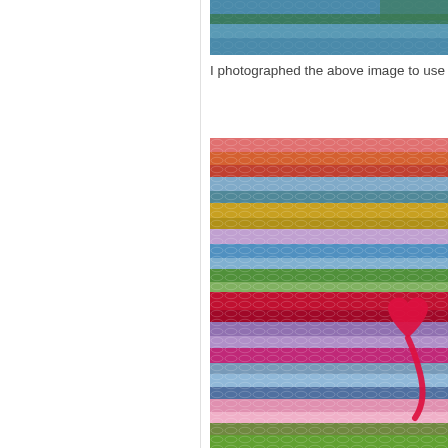[Figure (photo): Close-up of colorful crochet yarn at the top, partially cropped, showing blue and green yarn stripes.]
I photographed the above image to use fo
[Figure (photo): Close-up photograph of colorful crocheted fabric with horizontal stripes in many colors including pink, orange, red, blue, green, yellow, purple, and multicolor. A red heart shape appears to be crocheted or placed on the right side of the fabric.]